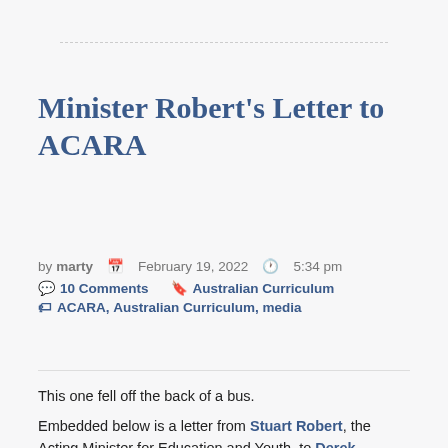Minister Robert's Letter to ACARA
by marty  February 19, 2022  5:34 pm  10 Comments  Australian Curriculum  ACARA, Australian Curriculum, media
This one fell off the back of a bus.
Embedded below is a letter from Stuart Robert, the Acting Minister for Education and Youth, to Derek